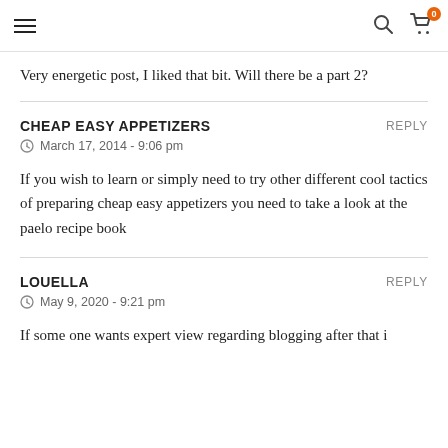Navigation header with hamburger menu, search icon, and cart icon with badge 0
Very energetic post, I liked that bit. Will there be a part 2?
CHEAP EASY APPETIZERS
March 17, 2014 - 9:06 pm
If you wish to learn or simply need to try other different cool tactics of preparing cheap easy appetizers you need to take a look at the paelo recipe book
LOUELLA
May 9, 2020 - 9:21 pm
If some one wants expert view regarding blogging after that i